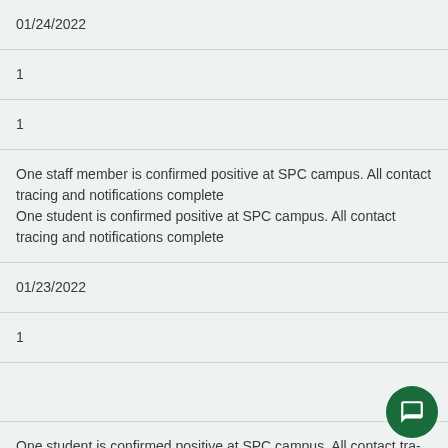| 01/24/2022 |  |  |
| 1 |  |  |
| 1 |  |  |
| One staff member is confirmed positive at SPC campus. All contact tracing and notifications complete
One student is confirmed positive at SPC campus. All contact tracing and notifications complete |  |  |
| 01/23/2022 |  |  |
| 1 |  |  |
|  |  |  |
| One student is confirmed positive at SPC campus. All contact tracing and notifications complete |  |  |